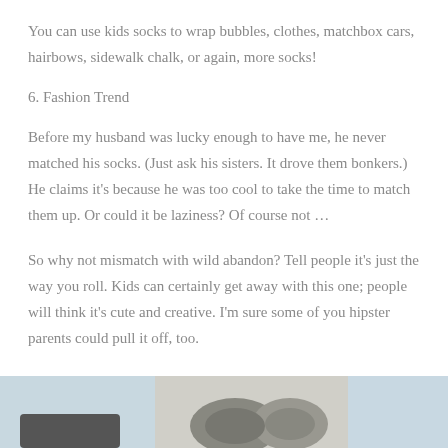You can use kids socks to wrap bubbles, clothes, matchbox cars, hairbows, sidewalk chalk, or again, more socks!
6. Fashion Trend
Before my husband was lucky enough to have me, he never matched his socks. (Just ask his sisters. It drove them bonkers.) He claims it’s because he was too cool to take the time to match them up. Or could it be laziness? Of course not …
So why not mismatch with wild abandon? Tell people it’s just the way you roll. Kids can certainly get away with this one; people will think it’s cute and creative. I’m sure some of you hipster parents could pull it off, too.
[Figure (photo): Photo showing mismatched socks or rolled socks, partially visible at bottom of page]